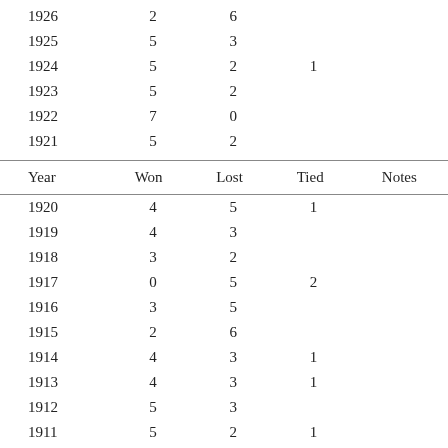| Year | Won | Lost | Tied | Notes |
| --- | --- | --- | --- | --- |
| 1926 | 2 | 6 |  |  |
| 1925 | 5 | 3 |  |  |
| 1924 | 5 | 2 | 1 |  |
| 1923 | 5 | 2 |  |  |
| 1922 | 7 | 0 |  |  |
| 1921 | 5 | 2 |  |  |
| Year | Won | Lost | Tied | Notes |
| --- | --- | --- | --- | --- |
| 1920 | 4 | 5 | 1 |  |
| 1919 | 4 | 3 |  |  |
| 1918 | 3 | 2 |  |  |
| 1917 | 0 | 5 | 2 |  |
| 1916 | 3 | 5 |  |  |
| 1915 | 2 | 6 |  |  |
| 1914 | 4 | 3 | 1 |  |
| 1913 | 4 | 3 | 1 |  |
| 1912 | 5 | 3 |  |  |
| 1911 | 5 | 2 | 1 |  |
| Year | Won | Lost | Tied | Notes |
| --- | --- | --- | --- | --- |